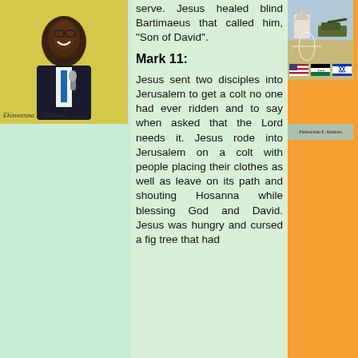[Figure (photo): Book cover showing a man in a suit holding a microphone against a yellow background, with author name 'Ekimwenma E. Aimiuwu' at bottom]
serve. Jesus healed blind Bartimaeus that called him, "Son of David".
Mark 11:
Jesus sent two disciples into Jerusalem to get a colt no one had ever ridden and to say when asked that the Lord needs it. Jesus rode into Jerusalem on a colt with people placing their clothes as well as leave on its path and shouting Hosanna while blessing God and David. Jesus was hungry and cursed a fig tree that had
[Figure (photo): Book cover showing military tanks in a desert, globe with church, US flag, Iraqi flag, Israeli flag, and author name 'Ekimwenma E. Aimiuwu']